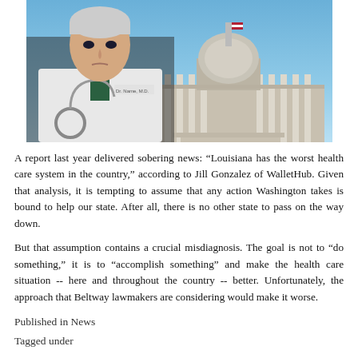[Figure (photo): A doctor in a white lab coat with a stethoscope in the foreground, with the U.S. Capitol building visible in the background against a blue sky.]
A report last year delivered sobering news: “Louisiana has the worst health care system in the country,” according to Jill Gonzalez of WalletHub. Given that analysis, it is tempting to assume that any action Washington takes is bound to help our state. After all, there is no other state to pass on the way down.
But that assumption contains a crucial misdiagnosis. The goal is not to “do something,” it is to “accomplish something” and make the health care situation -- here and throughout the country -- better. Unfortunately, the approach that Beltway lawmakers are considering would make it worse.
Published in News
Tagged under